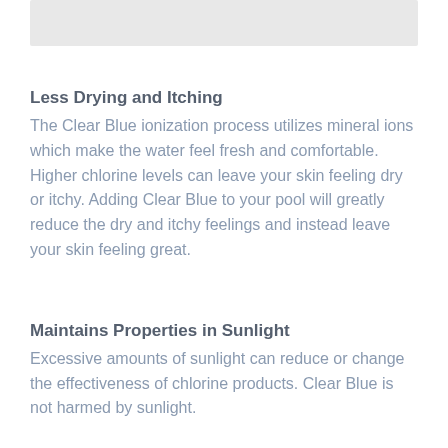[Figure (other): Gray placeholder image box at the top of the page]
Less Drying and Itching
The Clear Blue ionization process utilizes mineral ions which make the water feel fresh and comfortable. Higher chlorine levels can leave your skin feeling dry or itchy. Adding Clear Blue to your pool will greatly reduce the dry and itchy feelings and instead leave your skin feeling great.
Maintains Properties in Sunlight
Excessive amounts of sunlight can reduce or change the effectiveness of chlorine products. Clear Blue is not harmed by sunlight.